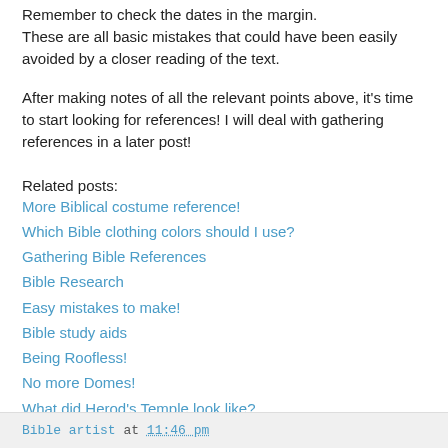Remember to check the dates in the margin. These are all basic mistakes that could have been easily avoided by a closer reading of the text.
After making notes of all the relevant points above, it's time to start looking for references! I will deal with gathering references in a later post!
Related posts:
More Biblical costume reference!
Which Bible clothing colors should I use?
Gathering Bible References
Bible Research
Easy mistakes to make!
Bible study aids
Being Roofless!
No more Domes!
What did Herod's Temple look like?
Houses in Bible times
Bible artist at 11:46 pm